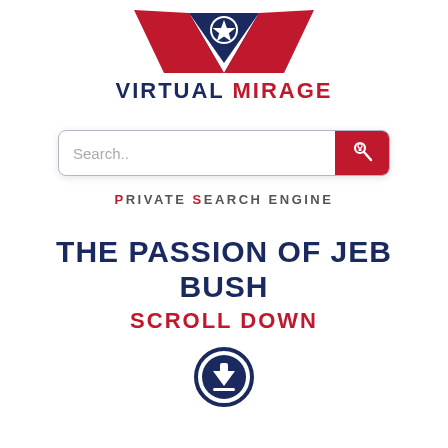[Figure (logo): Virtual Mirage logo: red and navy stylized M shape with a star, above the text VIRTUAL MIRAGE]
[Figure (screenshot): Search bar with placeholder text 'Search..' and a red search button with lock/magnifier icon]
PRIVATE SEARCH ENGINE
THE PASSION OF JEB BUSH
SCROLL DOWN
[Figure (illustration): Navy circle download/scroll down arrow icon]